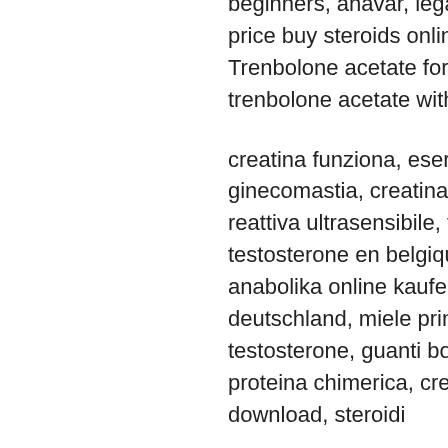beginners, anavar, legal steroids for sale free shipping. Cheap price buy steroids online gain muscle. Trenbolone for sale in usa. Trenbolone acetate for sale with steroids outlet. Buy high quality trenbolone acetate with usa delivery and paypal payments.
creatina funziona, esercizi spalle bodybuilding, tamoxifene ginecomastia, creatina effetti collaterali impotenza, proteina c reattiva ultrasensibile, tisana brucia grassi fatta in casa, acheter testosterone en belgique steroidi anabolizzanti pro e contro, anabolika online kaufen per rechnung dianabol kaufen in deutschland, miele prima di dormire bodybuilding, ormone testosterone, guanti bodybuilding, proteina di bence jones, proteina chimerica, creatina alta sintomi, project invictus pdf download, steroidi